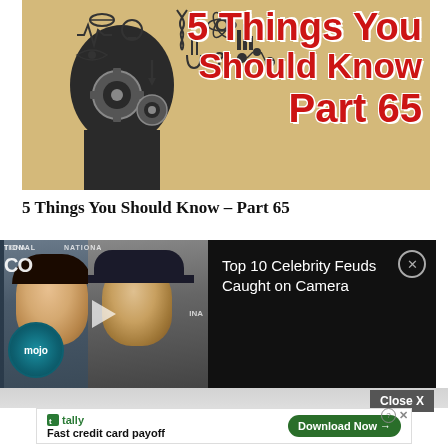[Figure (illustration): YouTube thumbnail for '5 Things You Should Know Part 65' showing a black silhouette of a human head with gears inside and various icons/symbols floating above, on a tan/gold background with bold red text]
5 Things You Should Know – Part 65
[Figure (screenshot): Video recommendation overlay panel with dark background showing two celebrities (Orlando Bloom and Justin Bieber) with WatchMojo logo, titled 'Top 10 Celebrity Feuds Caught on Camera', with an X close button]
Close X
[Figure (screenshot): Advertisement banner for Tally app with text 'Fast credit card payoff' and a green 'Download Now' button with arrow]